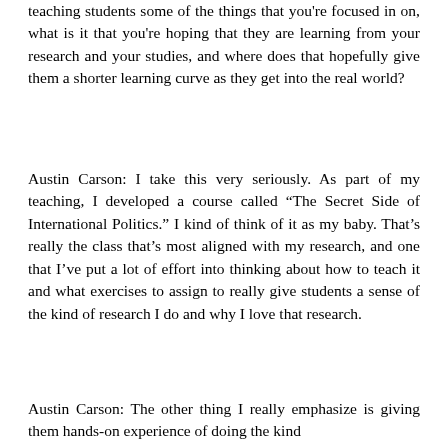teaching students some of the things that you're focused in on, what is it that you're hoping that they are learning from your research and your studies, and where does that hopefully give them a shorter learning curve as they get into the real world?
Austin Carson: I take this very seriously. As part of my teaching, I developed a course called “The Secret Side of International Politics.” I kind of think of it as my baby. That’s really the class that’s most aligned with my research, and one that I’ve put a lot of effort into thinking about how to teach it and what exercises to assign to really give students a sense of the kind of research I do and why I love that research.
Austin Carson: The other thing I really emphasize is giving them hands-on experience of doing the kind